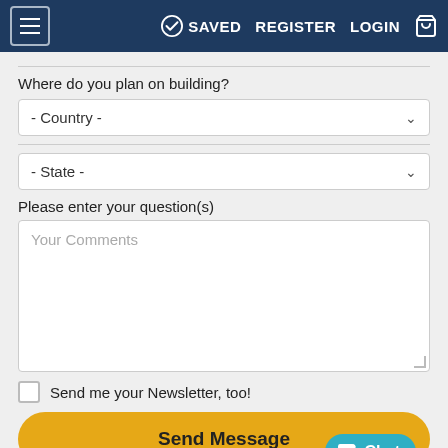≡  ✓ SAVED  REGISTER  LOGIN  🛒
Where do you plan on building?
- Country -
- State -
Please enter your question(s)
Your Comments
Send me your Newsletter, too!
Send Message